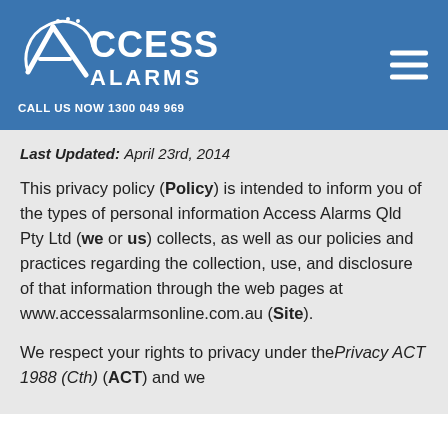[Figure (logo): Access Alarms logo in white on blue background with text CALL US NOW 1300 049 969]
Last Updated: April 23rd, 2014
This privacy policy (Policy) is intended to inform you of the types of personal information Access Alarms Qld Pty Ltd (we or us) collects, as well as our policies and practices regarding the collection, use, and disclosure of that information through the web pages at www.accessalarmsonline.com.au (Site).
We respect your rights to privacy under the Privacy ACT 1988 (Cth) (ACT) and we